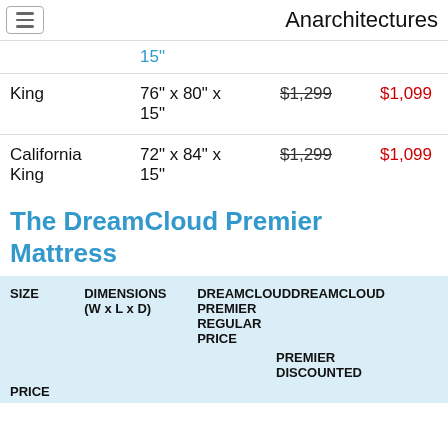Anarchitectures
| SIZE | DIMENSIONS (W x L x D) | REGULAR PRICE | DISCOUNTED PRICE |
| --- | --- | --- | --- |
|  | 15" |  |  |
| King | 76" x 80" x 15" | $1,299 | $1,099 |
| California King | 72" x 84" x 15" | $1,299 | $1,099 |
The DreamCloud Premier Mattress
| SIZE | DIMENSIONS (W x L x D) | DREAMCLOUD PREMIER REGULAR PRICE | DREAMCLOUD PREMIER DISCOUNTED PRICE |
| --- | --- | --- | --- |